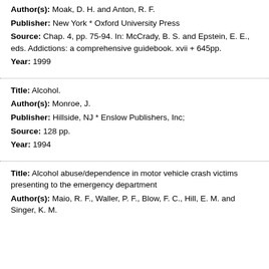Author(s): Moak, D. H. and Anton, R. F. Publisher: New York * Oxford University Press Source: Chap. 4, pp. 75-94. In: McCrady, B. S. and Epstein, E. E., eds. Addictions: a comprehensive guidebook. xvii + 645pp. Year: 1999
Title: Alcohol. Author(s): Monroe, J. Publisher: Hillside, NJ * Enslow Publishers, Inc; Source: 128 pp. Year: 1994
Title: Alcohol abuse/dependence in motor vehicle crash victims presenting to the emergency department Author(s): Maio, R. F., Waller, P. F., Blow, F. C., Hill, E. M. and Singer, K. M.